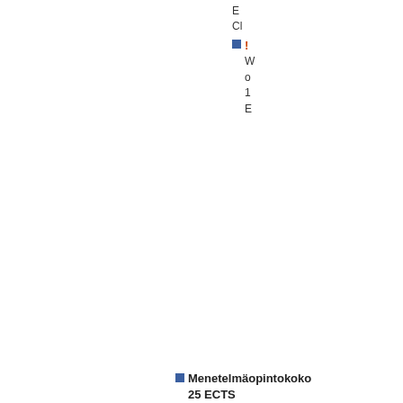E
Cl
! W o 1 E
Menetelmäopintokoko 25 ECTS